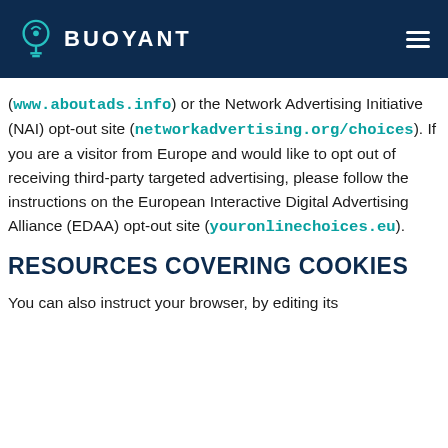BUOYANT
(www.aboutads.info) or the Network Advertising Initiative (NAI) opt-out site (networkadvertising.org/choices). If you are a visitor from Europe and would like to opt out of receiving third-party targeted advertising, please follow the instructions on the European Interactive Digital Advertising Alliance (EDAA) opt-out site (youronlinechoices.eu).
RESOURCES COVERING COOKIES
You can also instruct your browser, by editing its